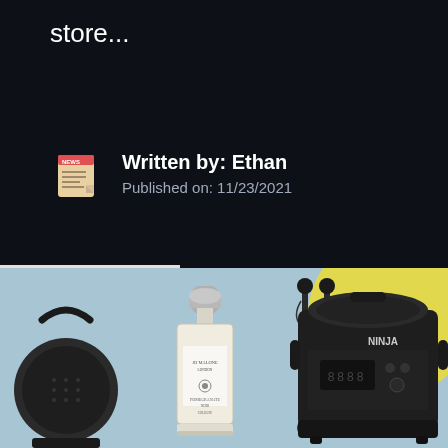store...
Written by: Ethan
Published on: 11/23/2021
[Figure (photo): Product showcase image on light blue background with yellow circle accent showing: Bose portable speaker, Jo Malone London perfume bottle, ski poles, and Ninja multi-cooker]